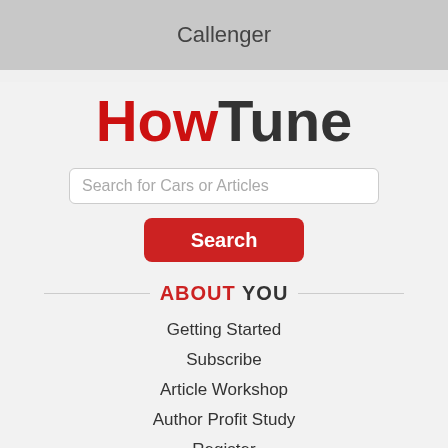[Figure (screenshot): Cropped top portion showing 'Callenger' text on grey banner]
[Figure (logo): HowTune logo with 'How' in red and 'Tune' in dark grey, bold large font]
Search for Cars or Articles
Search
ABOUT YOU
Getting Started
Subscribe
Article Workshop
Author Profit Study
Register
Reset Password